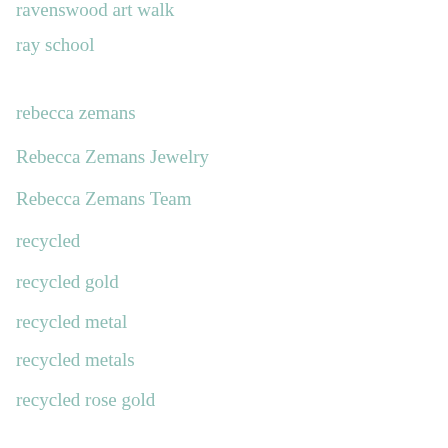ravenswood art walk
ray school
rebecca zemans
Rebecca Zemans Jewelry
Rebecca Zemans Team
recycled
recycled gold
recycled metal
recycled metals
recycled rose gold
red
red stone
red-brown color
redesign